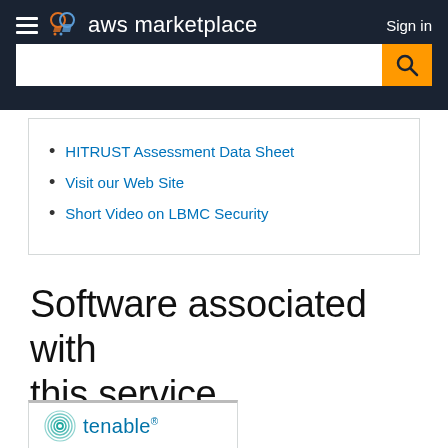aws marketplace  Sign in
HITRUST Assessment Data Sheet
Visit our Web Site
Short Video on LBMC Security
Software associated with this service
[Figure (logo): Tenable logo with teal circular icon and 'tenable' wordmark]